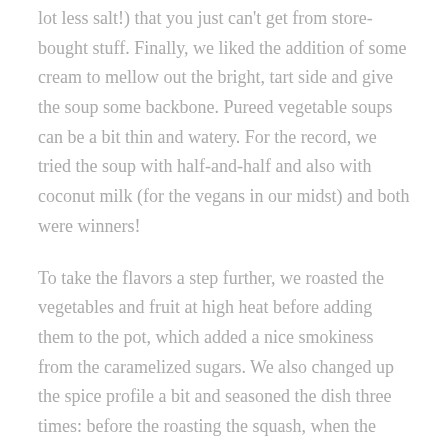lot less salt!) that you just can't get from store-bought stuff. Finally, we liked the addition of some cream to mellow out the bright, tart side and give the soup some backbone. Pureed vegetable soups can be a bit thin and watery. For the record, we tried the soup with half-and-half and also with coconut milk (for the vegans in our midst) and both were winners!
To take the flavors a step further, we roasted the vegetables and fruit at high heat before adding them to the pot, which added a nice smokiness from the caramelized sugars. We also changed up the spice profile a bit and seasoned the dish three times: before the roasting the squash, when the vegetables go in the pot, and after pureeing the soup. This